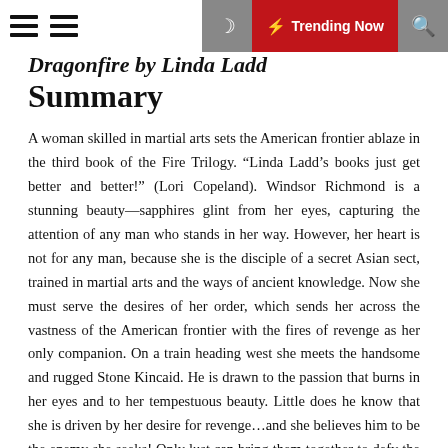Dragonfire by Linda Ladd — Trending Now
Dragonfire by Linda Ladd
Summary
A woman skilled in martial arts sets the American frontier ablaze in the third book of the Fire Trilogy. “Linda Ladd’s books just get better and better!” (Lori Copeland). Windsor Richmond is a stunning beauty—sapphires glint from her eyes, capturing the attention of any man who stands in her way. However, her heart is not for any man, because she is the disciple of a secret Asian sect, trained in martial arts and the ways of ancient knowledge. Now she must serve the desires of her order, which sends her across the vastness of the American frontier with the fires of revenge as her only companion. On a train heading west she meets the handsome and rugged Stone Kincaid. He is drawn to the passion that burns in her eyes and to her tempestuous beauty. Little does he know that she is driven by her desire for revenge…and she believes him to be the enemy she seeks! Only lust can bring them together to defy the fates that strain to keep them apart.
D